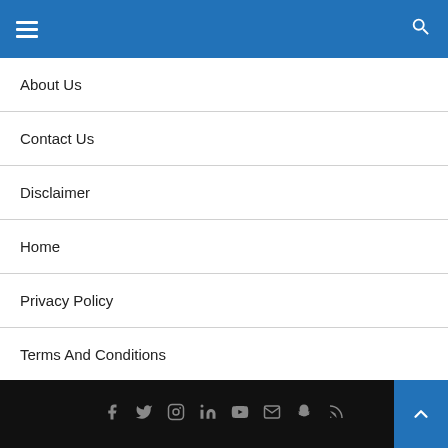Navigation menu header with hamburger icon and search icon
About Us
Contact Us
Disclaimer
Home
Privacy Policy
Terms And Conditions
Social icons: Facebook, Twitter, Instagram, LinkedIn, YouTube, Email, Snapchat, RSS. Back to top button.